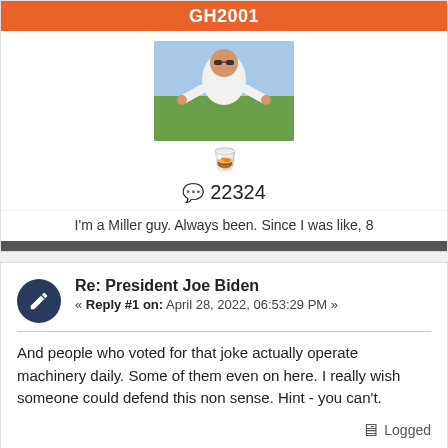GH2001
[Figure (photo): Profile photo of a man in white shirt outdoors, with sunglasses]
[Figure (other): Drink emoji icon]
22324
I'm a Miller guy. Always been. Since I was like, 8
Re: President Joe Biden
« Reply #1 on: April 28, 2022, 06:53:29 PM »
And people who voted for that joke actually operate machinery daily. Some of them even on here. I really wish someone could defend this non sense. Hint - you can't.
Logged
0 0 0 0